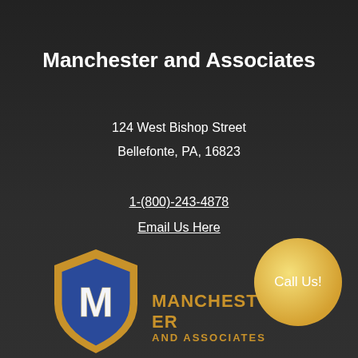Manchester and Associates
124 West Bishop Street
Bellefonte, PA, 16823
1-(800)-243-4878
Email Us Here
[Figure (logo): Manchester and Associates shield logo with blue shield and gold M letter, alongside gold text reading MANCHESTER AND ASSOCIATES]
[Figure (other): Gold circular button with text 'Call Us!']